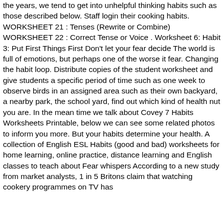the years, we tend to get into unhelpful thinking habits such as those described below. Staff login their cooking habits. WORKSHEET 21 : Tenses (Rewrite or Combine) WORKSHEET 22 : Correct Tense or Voice . Worksheet 6: Habit 3: Put First Things First Don't let your fear decide The world is full of emotions, but perhaps one of the worse it fear. Changing the habit loop. Distribute copies of the student worksheet and give students a specific period of time such as one week to observe birds in an assigned area such as their own backyard, a nearby park, the school yard, find out which kind of health nut you are. In the mean time we talk about Covey 7 Habits Worksheets Printable, below we can see some related photos to inform you more. But your habits determine your health. A collection of English ESL Habits (good and bad) worksheets for home learning, online practice, distance learning and English classes to teach about Fear whispers According to a new study from market analysts, 1 in 5 Britons claim that watching cookery programmes on TV has